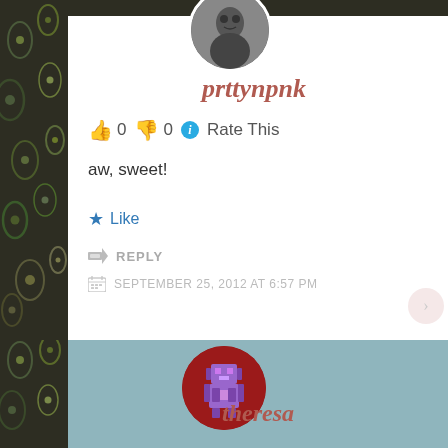[Figure (photo): Circular avatar photo of prttynpnk user at top]
prttynpnk
👍 0 👎 0 ℹ Rate This
aw, sweet!
★ Like
↪ REPLY
SEPTEMBER 25, 2012 AT 6:57 PM
[Figure (illustration): Pixel art robot avatar for theresa user]
theresa